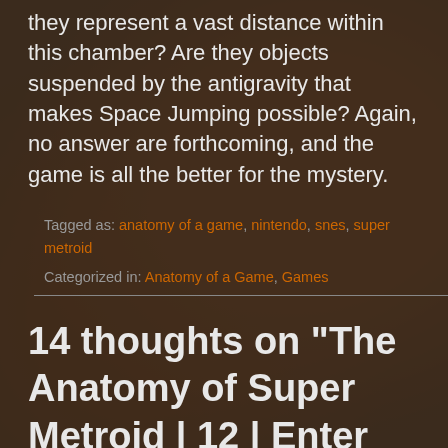they represent a vast distance within this chamber? Are they objects suspended by the antigravity that makes Space Jumping possible? Again, no answer are forthcoming, and the game is all the better for the mystery.
Tagged as: anatomy of a game, nintendo, snes, super metroid
Categorized in: Anatomy of a Game, Games
14 thoughts on “The Anatomy of Super Metroid | 12 | Enter the Draygon”
[Figure (illustration): Purple avatar/icon circle with pixel-art style character inside]